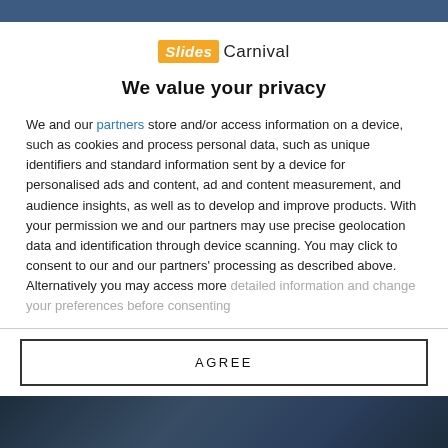[Figure (logo): Slides Carnival logo with orange 'Slides' badge and 'Carnival' text]
We value your privacy
We and our partners store and/or access information on a device, such as cookies and process personal data, such as unique identifiers and standard information sent by a device for personalised ads and content, ad and content measurement, and audience insights, as well as to develop and improve products. With your permission we and our partners may use precise geolocation data and identification through device scanning. You may click to consent to our and our partners' processing as described above. Alternatively you may access more detailed information and change your preferences before consenting
AGREE
MORE OPTIONS